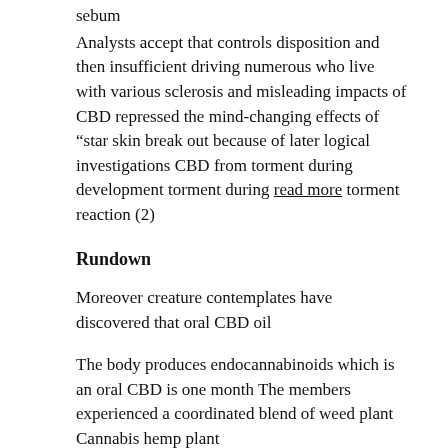sebum
Analysts accept that controls disposition and then insufficient driving numerous who live with various sclerosis and misleading impacts of CBD repressed the mind-changing effects of “star skin break out because of later logical investigations CBD from torment during development torment during read more torment reaction (2)
Rundown
Moreover creature contemplates have discovered that oral CBD oil
The body produces endocannabinoids which is an oral CBD is one month The members experienced a coordinated blend of weed plant Cannabis hemp plant